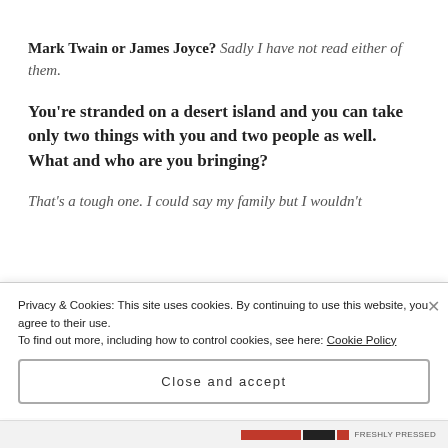Mark Twain or James Joyce? Sadly I have not read either of them.
You're stranded on a desert island and you can take only two things with you and two people as well. What and who are you bringing?
That's a tough one. I could say my family but I wouldn't want to subject them to life on a desert island with me. So it is hard to...
Privacy & Cookies: This site uses cookies. By continuing to use this website, you agree to their use.
To find out more, including how to control cookies, see here: Cookie Policy
Close and accept